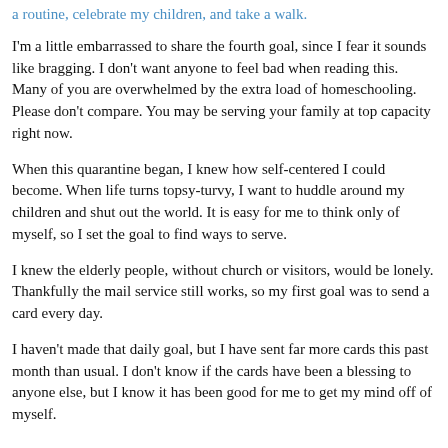a routine, celebrate my children, and take a walk.
I'm a little embarrassed to share the fourth goal, since I fear it sounds like bragging. I don't want anyone to feel bad when reading this. Many of you are overwhelmed by the extra load of homeschooling. Please don't compare. You may be serving your family at top capacity right now.
When this quarantine began, I knew how self-centered I could become. When life turns topsy-turvy, I want to huddle around my children and shut out the world. It is easy for me to think only of myself, so I set the goal to find ways to serve.
I knew the elderly people, without church or visitors, would be lonely. Thankfully the mail service still works, so my first goal was to send a card every day.
I haven't made that daily goal, but I have sent far more cards this past month than usual. I don't know if the cards have been a blessing to anyone else, but I know it has been good for me to get my mind off of myself.